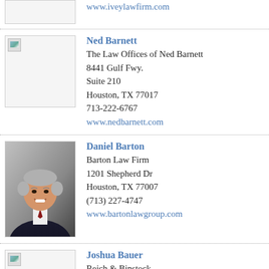www.iveylawfirm.com
Ned Barnett
The Law Offices of Ned Barnett
8441 Gulf Fwy.
Suite 210
Houston, TX 77017
713-222-6767
www.nedbarnett.com
Daniel Barton
Barton Law Firm
1201 Shepherd Dr
Houston, TX 77007
(713) 227-4747
www.bartonlawgroup.com
Joshua Bauer
Reich & Binstock